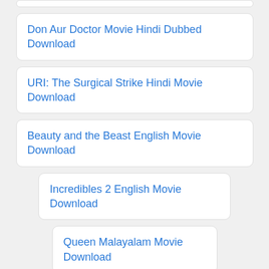Don Aur Doctor Movie Hindi Dubbed Download
URI: The Surgical Strike Hindi Movie Download
Beauty and the Beast English Movie Download
Incredibles 2 English Movie Download
Queen Malayalam Movie Download
Phuntroo Marathi Movie Download
47 Days Telugu Movie Download